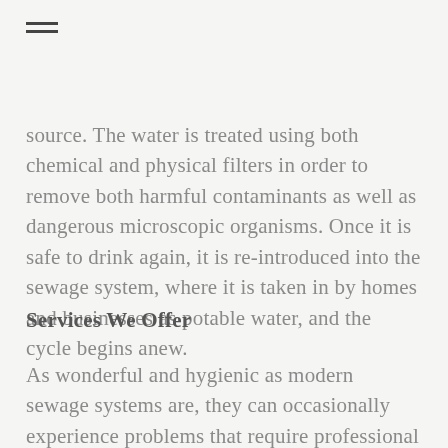source. The water is treated using both chemical and physical filters in order to remove both harmful contaminants as well as dangerous microscopic organisms. Once it is safe to drink again, it is re-introduced into the sewage system, where it is taken in by homes and businesses as potable water, and the cycle begins anew.
Services We Offer
As wonderful and hygienic as modern sewage systems are, they can occasionally experience problems that require professional help. We